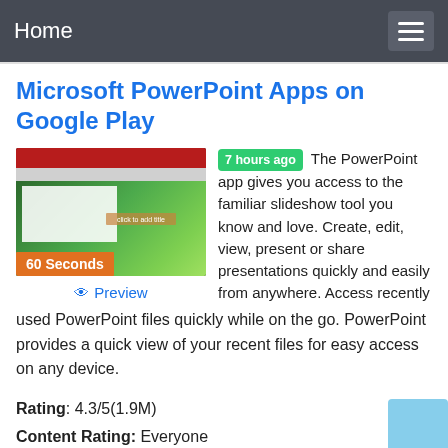Home
Microsoft PowerPoint Apps on Google Play
[Figure (screenshot): Thumbnail screenshot of Microsoft PowerPoint app showing slides with green background and red ribbon. A badge reads '60 Seconds'.]
Preview
7 hours ago The PowerPoint app gives you access to the familiar slideshow tool you know and love. Create, edit, view, present or share presentations quickly and easily from anywhere. Access recently used PowerPoint files quickly while on the go. PowerPoint provides a quick view of your recent files for easy access on any device.
Rating: 4.3/5(1.9M)
Content Rating: Everyone